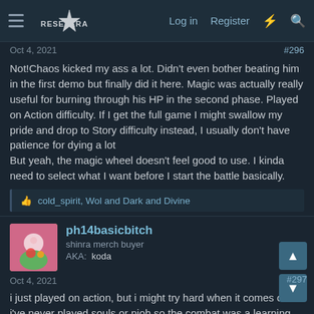Log in   Register
Oct 4, 2021  #296
Not!Chaos kicked my ass a lot. Didn't even bother beating him in the first demo but finally did it here. Magic was actually really useful for burning through his HP in the second phase. Played on Action difficulty. If I get the full game I might swallow my pride and drop to Story difficulty instead, I usually don't have patience for dying a lot
But yeah, the magic wheel doesn't feel good to use. I kinda need to select what I want before I start the battle basically.
cold_spirit, Wol and Dark and Divine
ph14basicbitch
shinra merch buyer
AKA:  koda
Oct 4, 2021  #297
i just played on action, but i might try hard when it comes out. i've never played souls or nioh so the combat was a learning